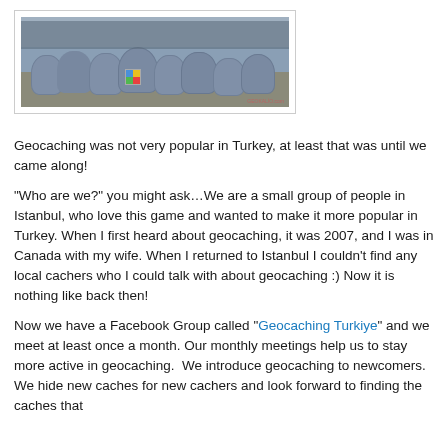[Figure (photo): Group photo of people with large gray garbage bags outdoors, possibly after a cleanup event. A small watermark is visible in the bottom right.]
Geocaching was not very popular in Turkey, at least that was until we came along!
“Who are we?” you might ask…We are a small group of people in Istanbul, who love this game and wanted to make it more popular in Turkey. When I first heard about geocaching, it was 2007, and I was in Canada with my wife. When I returned to Istanbul I couldn't find any local cachers who I could talk with about geocaching :) Now it is nothing like back then!
Now we have a Facebook Group called “Geocaching Turkiye” and we meet at least once a month. Our monthly meetings help us to stay more active in geocaching.  We introduce geocaching to newcomers. We hide new caches for new cachers and look forward to finding the caches that